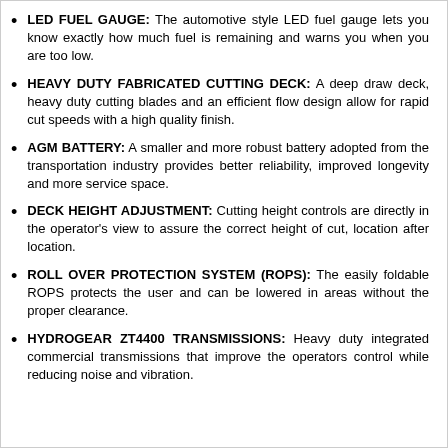LED FUEL GAUGE: The automotive style LED fuel gauge lets you know exactly how much fuel is remaining and warns you when you are too low.
HEAVY DUTY FABRICATED CUTTING DECK: A deep draw deck, heavy duty cutting blades and an efficient flow design allow for rapid cut speeds with a high quality finish.
AGM BATTERY: A smaller and more robust battery adopted from the transportation industry provides better reliability, improved longevity and more service space.
DECK HEIGHT ADJUSTMENT: Cutting height controls are directly in the operator's view to assure the correct height of cut, location after location.
ROLL OVER PROTECTION SYSTEM (ROPS): The easily foldable ROPS protects the user and can be lowered in areas without the proper clearance.
HYDROGEAR ZT4400 TRANSMISSIONS: Heavy duty integrated commercial transmissions that improve the operators control while reducing noise and vibration.